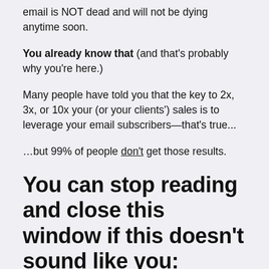email is NOT dead and will not be dying anytime soon.
You already know that (and that's probably why you're here.)
Many people have told you that the key to 2x, 3x, or 10x your (or your clients') sales is to leverage your email subscribers—that's true...
…but 99% of people don't get those results.
You can stop reading and close this window if this doesn't sound like you:
You've set up a welcome email for new